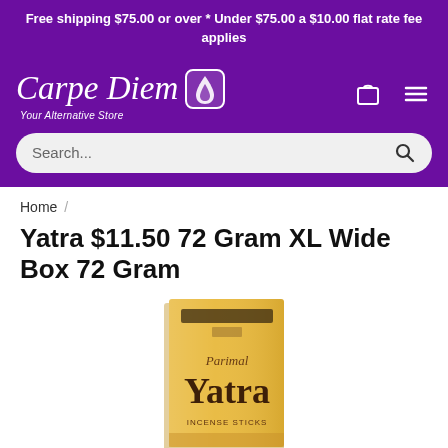Free shipping $75.00 or over * Under $75.00 a $10.00 flat rate fee applies
[Figure (logo): Carpe Diem Your Alternative Store logo with circular flame/water droplet icon, white text on purple background, with cart and hamburger menu icons]
Search...
Home /
Yatra $11.50 72 Gram XL Wide Box 72 Gram
[Figure (photo): Product photo of Parimal Yatra incense box - yellow/gold colored tall rectangular box with 'Yatra' text in dark brown decorative lettering]